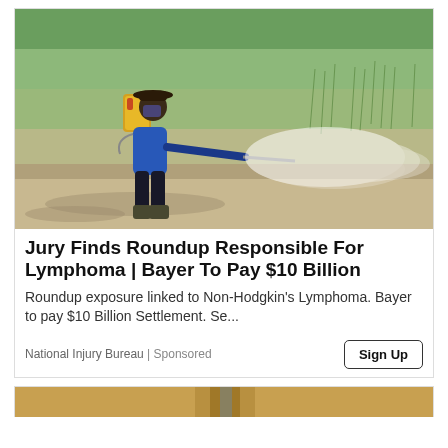[Figure (photo): A farm worker wearing a hat and face covering, dressed in a blue long-sleeve shirt and dark pants, spraying pesticide from a backpack sprayer over a green rice paddy field. A white mist spray is visible extending to the right.]
Jury Finds Roundup Responsible For Lymphoma | Bayer To Pay $10 Billion
Roundup exposure linked to Non-Hodgkin's Lymphoma. Bayer to pay $10 Billion Settlement. Se...
National Injury Bureau | Sponsored
[Figure (photo): Partial view of a second article card at the bottom of the page, showing what appears to be a metallic or wooden surface, partially visible.]